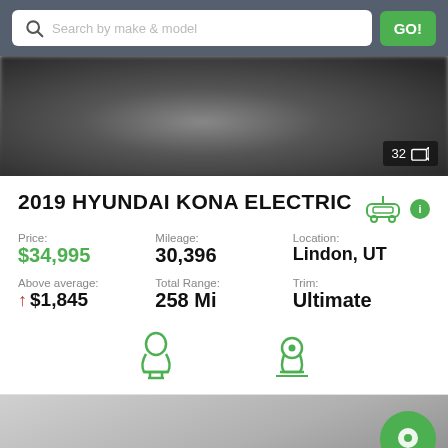Search by make & model  GO!
[Figure (photo): Blurred photo of a car, with a photo count badge showing 32 photos]
2019 HYUNDAI KONA ELECTRIC
Price: $34,995
Mileage: 30,396
Location: Lindon, UT
Above average: ↑ $1,845
Total Range: 258 Mi
Trim: Ultimate
[Figure (illustration): Green seat icon and green map location pin icon]
[Figure (photo): Bottom portion of a car photo, grey background]